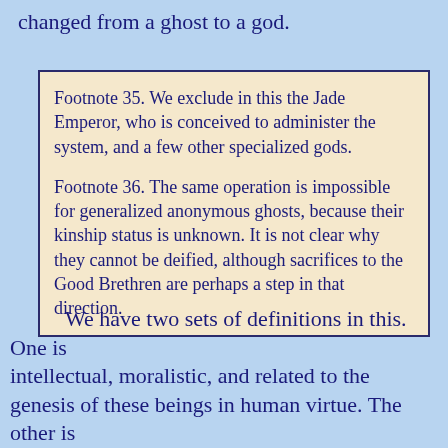changed from a ghost to a god.
Footnote 35. We exclude in this the Jade Emperor, who is conceived to administer the system, and a few other specialized gods.

Footnote 36. The same operation is impossible for generalized anonymous ghosts, because their kinship status is unknown. It is not clear why they cannot be deified, although sacrifices to the Good Brethren are perhaps a step in that direction.
We have two sets of definitions in this. One is intellectual, moralistic, and related to the genesis of these beings in human virtue. The other is